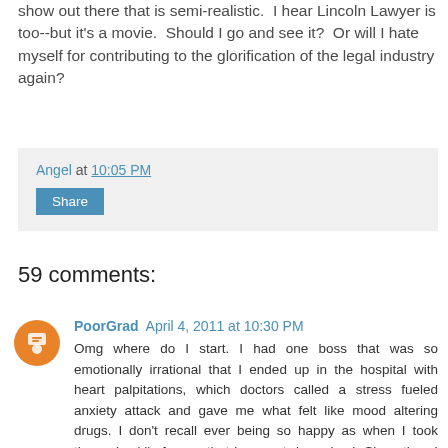show out there that is semi-realistic.  I hear Lincoln Lawyer is too--but it's a movie.  Should I go and see it?  Or will I hate myself for contributing to the glorification of the legal industry again?
Angel at 10:05 PM
Share
59 comments:
PoorGrad  April 4, 2011 at 10:30 PM
Omg where do I start. I had one boss that was so emotionally irrational that I ended up in the hospital with heart palpitations, which doctors called a stress fueled anxiety attack and gave me what felt like mood altering drugs. I don't recall ever being so happy as when I took those. Luckily for me that boss got downsized. Since then I have had 2 bosses so I now role with the punches. The stress is always there. I'm on the corporate law side so the